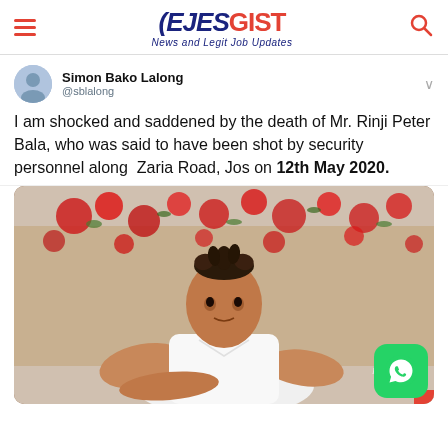EJESGIST - News and Legit Job Updates
Simon Bako Lalong @sblalong
I am shocked and saddened by the death of Mr. Rinji Peter Bala, who was said to have been shot by security personnel along Zaria Road, Jos on 12th May 2020.
[Figure (photo): Young man in white t-shirt posing with blurred red flowers in background, watermark reads 'BenefitDam']